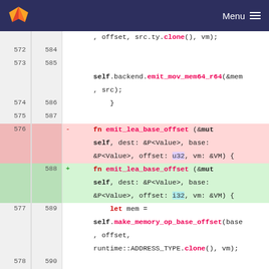GitLab navigation bar with logo and Menu
[Figure (screenshot): Code diff view showing Rust source code with line numbers, removed line (576) with u32 parameter and added line (588) with i32 parameter in emit_lea_base_offset function]
, offset, src.ty.clone(), vm);
572 584
573 585
    self.backend.emit_mov_mem64_r64(&mem
    , src);
574 586        }
575 587
576    -    fn emit_lea_base_offset (&mut self, dest: &P<Value>, base: &P<Value>, offset: u32, vm: &VM) {
    588 +    fn emit_lea_base_offset (&mut self, dest: &P<Value>, base: &P<Value>, offset: i32, vm: &VM) {
577 589        let mem = self.make_memory_op_base_offset(base, offset, runtime::ADDRESS_TYPE.clone(), vm);
578 590
579 591
    self.backend.emit_lea_r64(dest, &mem);